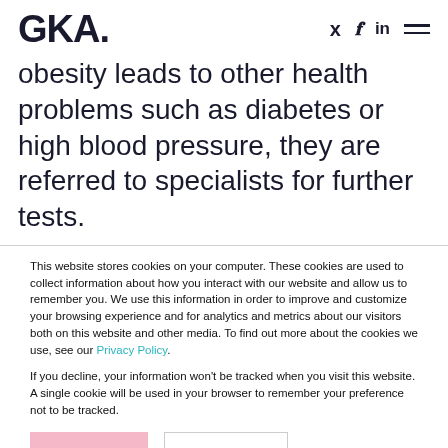GKA.
obesity leads to other health problems such as diabetes or high blood pressure, they are referred to specialists for further tests.
This website stores cookies on your computer. These cookies are used to collect information about how you interact with our website and allow us to remember you. We use this information in order to improve and customize your browsing experience and for analytics and metrics about our visitors both on this website and other media. To find out more about the cookies we use, see our Privacy Policy.
If you decline, your information won't be tracked when you visit this website. A single cookie will be used in your browser to remember your preference not to be tracked.